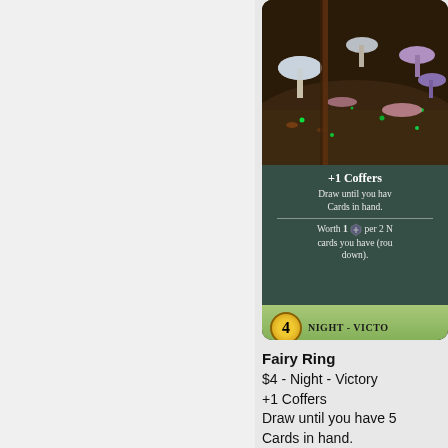[Figure (illustration): A game card called Fairy Ring showing a night scene with glowing mushrooms on dark ground. The card text shows '+1 Coffers', 'Draw until you hav[e 5] Cards in hand.', 'Worth 1 [shield] per 2 N[ight] cards you have (rou[nd] down).' Cost badge shows '4'. Bottom banner reads 'NIGHT - VICTO[RY]'.]
Fairy Ring
$4 - Night - Victory
+1 Coffers
Draw until you have 5 Cards in hand.
-----